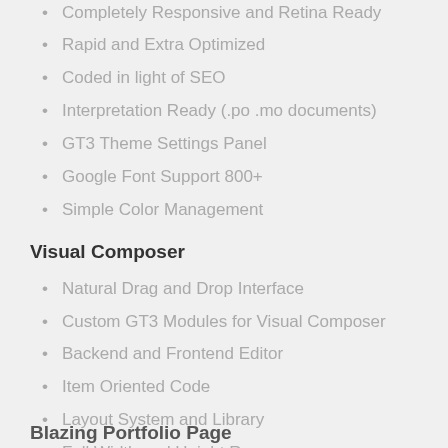Completely Responsive and Retina Ready
Rapid and Extra Optimized
Coded in light of SEO
Interpretation Ready (.po .mo documents)
GT3 Theme Settings Panel
Google Font Support 800+
Simple Color Management
Visual Composer
Natural Drag and Drop Interface
Custom GT3 Modules for Visual Composer
Backend and Frontend Editor
Item Oriented Code
Layout System and Library
Full Width and Height Rows
Parallax Background for Rows
Activity Effects Library
Also, Much More…
Blazing Portfolio Page